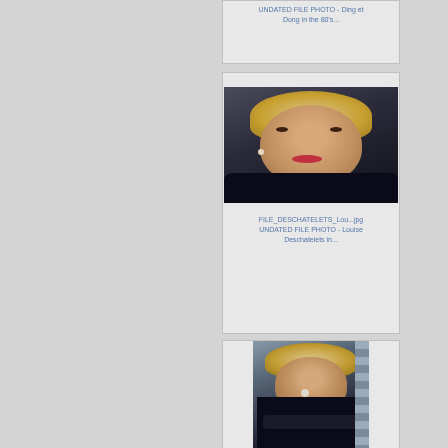UNDATED FILE PHOTO - Ding et Dong in the 80's...
[Figure (photo): Portrait photo of Louise Deschatelets, a woman with blonde hair in a dark outfit, close-up headshot]
FILE_DESCHATELETS_Lou...jpg UNDATED FILE PHOTO - Louise Deschatelets in...
[Figure (photo): Full body portrait photo of Louise Deschatelets in a dark outfit with arms crossed, standing against a striped background]